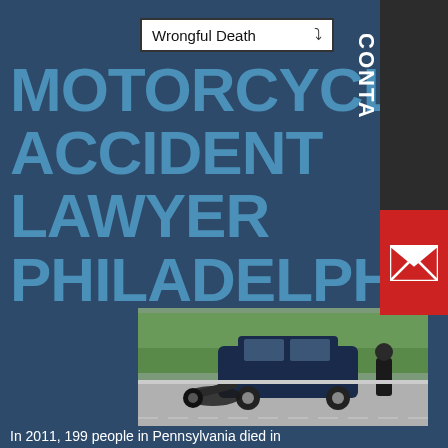Wrongful Death (dropdown)
MOTORCYCLE ACCIDENT LAWYER PHILADELPHIA
[Figure (photo): Motorcycle accident scene: a dark blue hatchback car with a crashed motorcycle underneath it on a road, a police officer standing nearby inspecting the scene, trees in the background]
In 2011, 199 people in Pennsylvania died in